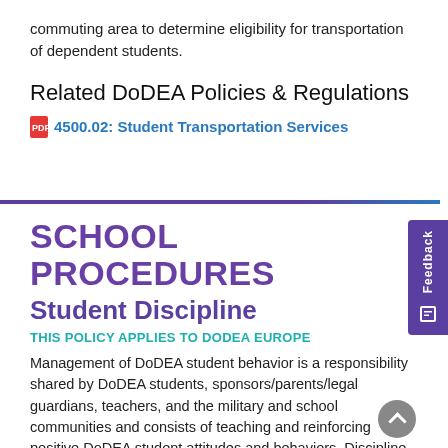commuting area to determine eligibility for transportation of dependent students.
Related DoDEA Policies & Regulations
4500.02: Student Transportation Services
SCHOOL PROCEDURES
Student Discipline
THIS POLICY APPLIES TO DODEA EUROPE
Management of DoDEA student behavior is a responsibility shared by DoDEA students, sponsors/parents/legal guardians, teachers, and the military and school communities and consists of teaching and reinforcing positive DoDEA student attitudes and behaviors. Discipline should be progressively, equitably and fairly administered, is sequential and preplanned, and normally occurs in a hierarchy of